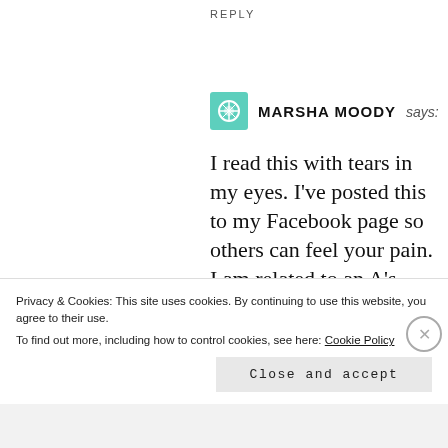REPLY
MARSHA MOODY says:
I read this with tears in my eyes. I've posted this to my Facebook page so others can feel your pain. I am related to an A's player and I know how much it hurts for us to hear negative things about our guy. We love Sean. We love his heart, his talent, his beard, etc. He's the real deal and he's loved my many.
Privacy & Cookies: This site uses cookies. By continuing to use this website, you agree to their use.
To find out more, including how to control cookies, see here: Cookie Policy
Close and accept